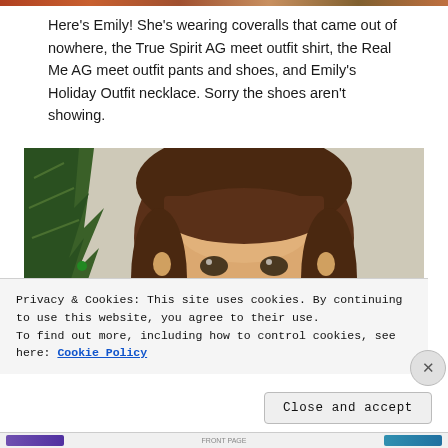[Figure (photo): Top strip showing edge of a colorful photo, partially cropped at top of page]
Here's Emily! She's wearing coveralls that came out of nowhere, the True Spirit AG meet outfit shirt, the Real Me AG meet outfit pants and shoes, and Emily's Holiday Outfit necklace. Sorry the shoes aren't showing.
[Figure (photo): Close-up photo of Emily, an American Girl doll with brown hair and bangs, brown eyes, slight smile, posed near a Christmas tree with ornaments against a textured white wall]
Privacy & Cookies: This site uses cookies. By continuing to use this website, you agree to their use.
To find out more, including how to control cookies, see here: Cookie Policy
Close and accept